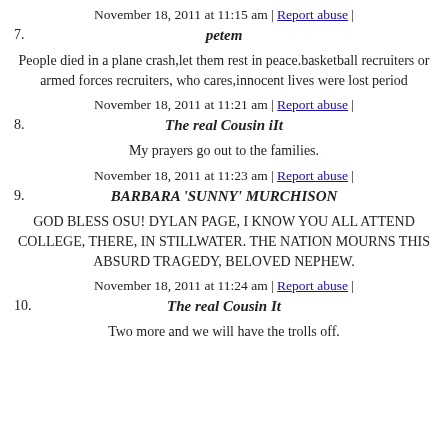7. November 18, 2011 at 11:15 am | Report abuse | petem
People died in a plane crash,let them rest in peace.basketball recruiters or armed forces recruiters, who cares,innocent lives were lost period
8. November 18, 2011 at 11:21 am | Report abuse | The real Cousin iIt
My prayers go out to the families.
9. November 18, 2011 at 11:23 am | Report abuse | BARBARA 'SUNNY' MURCHISON
GOD BLESS OSU! DYLAN PAGE, I KNOW YOU ALL ATTEND COLLEGE, THERE, IN STILLWATER. THE NATION MOURNS THIS ABSURD TRAGEDY, BELOVED NEPHEW.
10. November 18, 2011 at 11:24 am | Report abuse | The real Cousin It
Two more and we will have the trolls off.